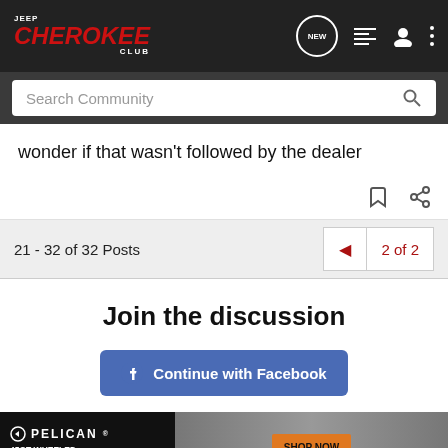Jeep Cherokee Club - Search Community
wonder if that wasn't followed by the dealer
21 - 32 of 32 Posts   2 of 2
Join the discussion
Continue with Facebook
[Figure (screenshot): Pelican 45QT Wheeled Elite Cooler advertisement banner with Shop Now button]